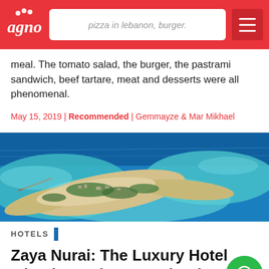pizza in lebanon, burger.
meal. The tomato salad, the burger, the pastrami sandwich, beef tartare, meat and desserts were all phenomenal.
May 15, 2019 | Recommended | Gemmayze & Mar Mikhael
[Figure (photo): Aerial view of Zaya Nurai island resort surrounded by turquoise water]
HOTELS
Zaya Nurai: The Luxury Hotel Island! Food, Fun and Relaxa...
Experience paradise on earth; welcome to Zaya